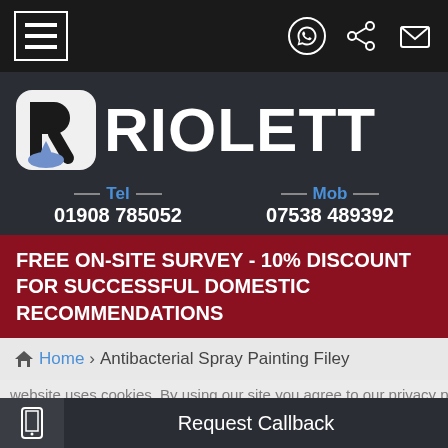Navigation bar with hamburger menu and share/contact icons
[Figure (logo): Riolett company logo with stylized R icon and water drop, text RIOLETT in white on dark background]
Tel 01908 785052   Mob 07538 489392
FREE ON-SITE SURVEY - 10% DISCOUNT FOR SUCCESSFUL DOMESTIC RECOMMENDATIONS
Home > Antibacterial Spray Painting Filey
website uses cookies. By using our site you agree to our privacy policy about it
Request Callback